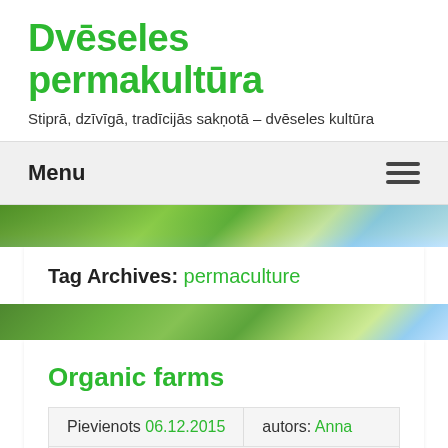Dvēseles permakultūra
Stiprā, dzīvīgā, tradīcijās sakņotā – dvēseles kultūra
Menu
Tag Archives: permaculture
Organic farms
Pievienots 06.12.2015   autors: Anna
Komentēt